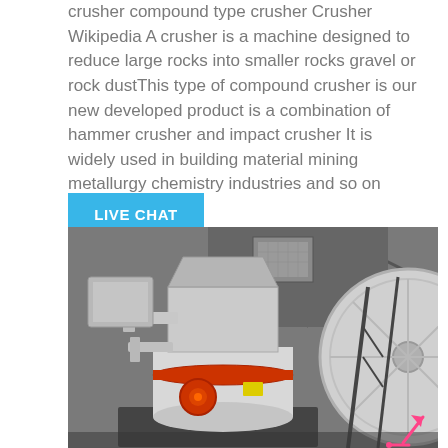crusher compound type crusher Crusher Wikipedia A crusher is a machine designed to reduce large rocks into smaller rocks gravel or rock dustThis type of compound crusher is our new developed product is a combination of hammer crusher and impact crusher It is widely used in building material mining metallurgy chemistry industries and so on
LIVE CHAT
[Figure (photo): Industrial compound crusher machine photographed in a factory/warehouse setting. The machine is large, white/grey colored with red trim/ring accents. A large flywheel is visible on the right side. The background shows a metal-framed industrial building structure. A pink/red upward arrow icon is visible in the lower right corner of the image.]